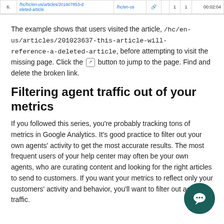|  | URL |  | link icon |  | 1 | 1 | 00:02:04 |
| --- | --- | --- | --- | --- | --- | --- | --- |
| 6. | /hc/hc/en-us/articles/201607853-d eleted-article | /hc/en-us |  |  | 1 | 1 | 00:02:04 |
The example shows that users visited the article, /hc/en-us/articles/201023637-this-article-will-reference-a-deleted-article, before attempting to visit the missing page. Click the [icon] button to jump to the page. Find and delete the broken link.
Filtering agent traffic out of your metrics
If you followed this series, you're probably tracking tons of metrics in Google Analytics. It's good practice to filter out your own agents' activity to get the most accurate results. The most frequent users of your help center may often be your own agents, who are curating content and looking for the right articles to send to customers. If you want your metrics to reflect only your customers' activity and behavior, you'll want to filter out agent traffic.